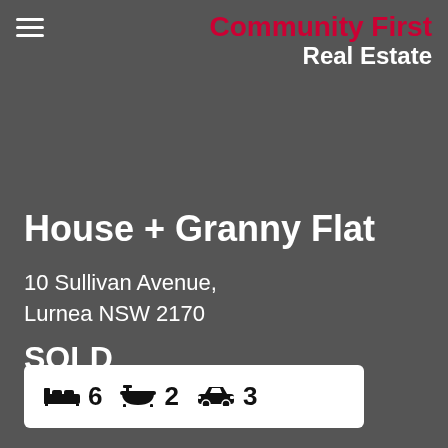Community First Real Estate
House + Granny Flat
10 Sullivan Avenue, Lurnea NSW 2170
SOLD
[Figure (infographic): Property features bar: bed icon with 6, bath icon with 2, car icon with 3]